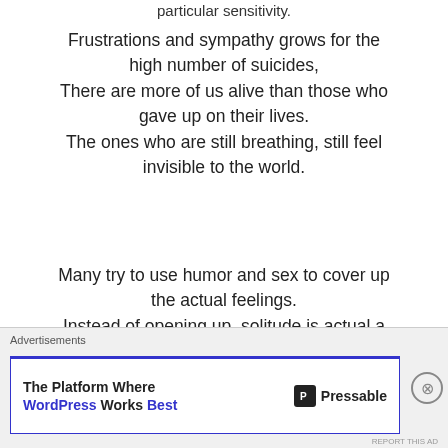particular sensitivity.
Frustrations and sympathy grows for the high number of suicides,
There are more of us alive than those who gave up on their lives.
The ones who are still breathing, still feel invisible to the world.
Many try to use humor and sex to cover up the actual feelings.
Instead of opening up, solitude is actual a comfort to hide the feelings
Advertisements
The Platform Where WordPress Works Best